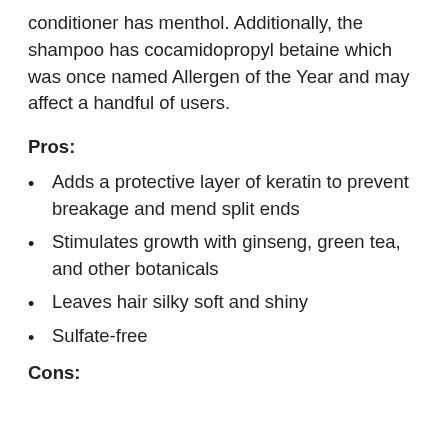conditioner has menthol. Additionally, the shampoo has cocamidopropyl betaine which was once named Allergen of the Year and may affect a handful of users.
Pros:
Adds a protective layer of keratin to prevent breakage and mend split ends
Stimulates growth with ginseng, green tea, and other botanicals
Leaves hair silky soft and shiny
Sulfate-free
Cons: